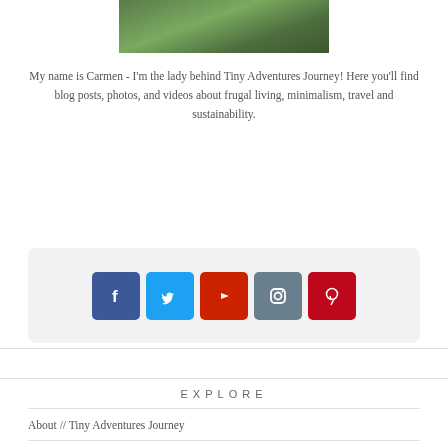[Figure (photo): Partial photo of green foliage/ferns at top of page]
My name is Carmen - I'm the lady behind Tiny Adventures Journey! Here you'll find blog posts, photos, and videos about frugal living, minimalism, travel and sustainability.
[Figure (infographic): Social media icons bar with Facebook (blue), Twitter (light blue), YouTube (red), Instagram (grey-blue), Pinterest (red) square icon buttons]
EXPLORE
About // Tiny Adventures Journey